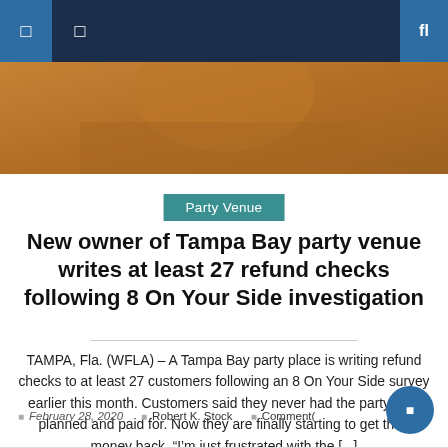Navigation bar with menu icons and search
[Figure (photo): Partial photo of a person wearing an orange/amber top, cropped to show upper body area against a blurred background]
Party Venue
New owner of Tampa Bay party venue writes at least 27 refund checks following 8 On Your Side investigation
TAMPA, Fla. (WFLA) – A Tampa Bay party place is writing refund checks to at least 27 customers following an 8 On Your Side survey earlier this month. Customers said they never had the party they planned and paid for. Now they are finally starting to get their money back. “I’m just frustrated with the [...]
February 28, 2020  Robert K. Stock  Comment(